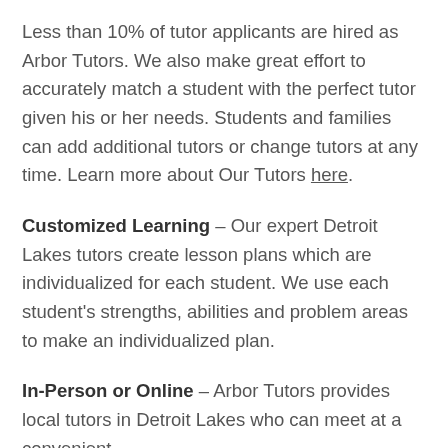Less than 10% of tutor applicants are hired as Arbor Tutors. We also make great effort to accurately match a student with the perfect tutor given his or her needs. Students and families can add additional tutors or change tutors at any time. Learn more about Our Tutors here.
Customized Learning – Our expert Detroit Lakes tutors create lesson plans which are individualized for each student. We use each student's strengths, abilities and problem areas to make an individualized plan.
In-Person or Online – Arbor Tutors provides local tutors in Detroit Lakes who can meet at a convenient